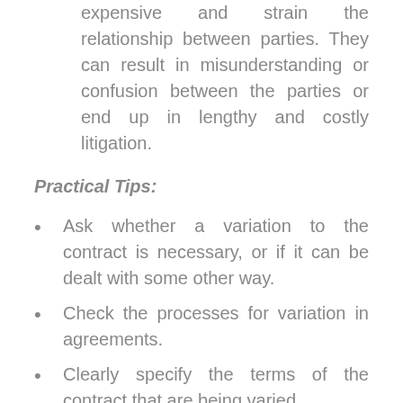expensive and strain the relationship between parties. They can result in misunderstanding or confusion between the parties or end up in lengthy and costly litigation.
Practical Tips:
Ask whether a variation to the contract is necessary, or if it can be dealt with some other way.
Check the processes for variation in agreements.
Clearly specify the terms of the contract that are being varied.